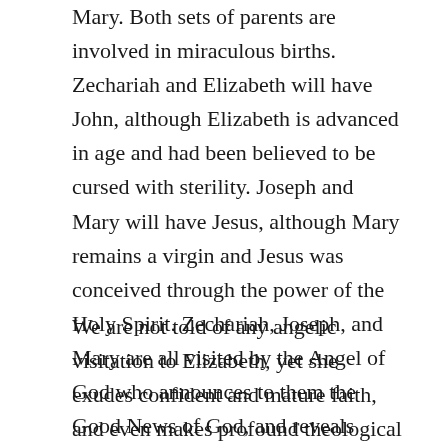Mary. Both sets of parents are involved in miraculous births. Zechariah and Elizabeth will have John, although Elizabeth is advanced in age and had been believed to be cursed with sterility. Joseph and Mary will have Jesus, although Mary remains a virgin and Jesus was conceived through the power of the Holy Spirit. Zechariah, Joseph, and Mary are all visited by the Angel of God who announces to them the Good News of God, and reveals God’s plans regarding the births of John and Jesus.
We are not told of any angelic visitation to Elizabeth, yet she exudes confident and mature faith, and even makes profound theological statements concerning Mary and Jesus. Elizabeth has a special kind of faith, one made possible by the scandal, dishonor, disgrace,